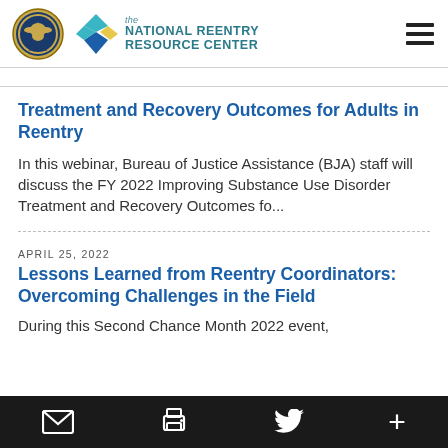the NATIONAL REENTRY RESOURCE CENTER
Treatment and Recovery Outcomes for Adults in Reentry
In this webinar, Bureau of Justice Assistance (BJA) staff will discuss the FY 2022 Improving Substance Use Disorder Treatment and Recovery Outcomes fo...
APRIL 25, 2022
Lessons Learned from Reentry Coordinators: Overcoming Challenges in the Field
During this Second Chance Month 2022 event,